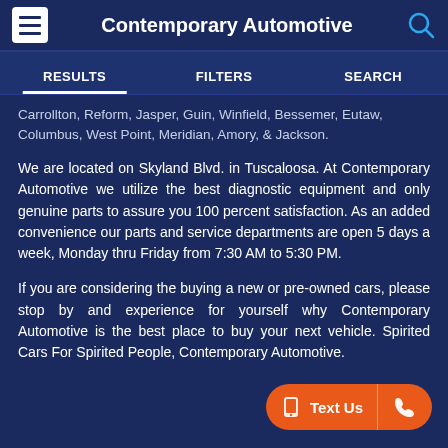Contemporary Automotive
RESULTS   FILTERS   SEARCH
Carrollton, Reform, Jasper, Guin, Winfield, Bessemer, Eutaw, Columbus, West Point, Meridian, Amory, & Jackson.
We are located on Skyland Blvd. in Tuscaloosa. At Contemporary Automotive we utilize the best diagnostic equipment and only genuine parts to assure you 100 percent satisfaction. As an added convenience our parts and service departments are open 5 days a week, Monday thru Friday from 7:30 AM to 5:30 PM.
If you are considering the buying a new or pre-owned cars, please stop by and experience for yourself why Contemporary Automotive is the best place to buy your next vehicle. Spirited Cars For Spirited People, Contemporary Automotive.